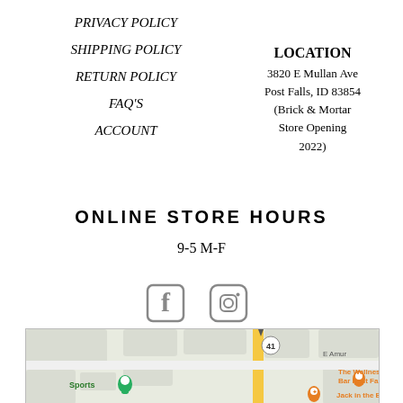PRIVACY POLICY
SHIPPING POLICY
RETURN POLICY
FAQ'S
ACCOUNT
LOCATION
3820 E Mullan Ave
Post Falls, ID 83854
(Brick & Mortar Store Opening 2022)
ONLINE STORE HOURS
9-5 M-F
[Figure (other): Social media icons: Facebook and Instagram]
[Figure (map): Google Maps showing location near 3820 E Mullan Ave, Post Falls, ID. Shows route 41, E Amur street, Sports store, Jack in the Box, and The Wellness Bar Post Falls.]